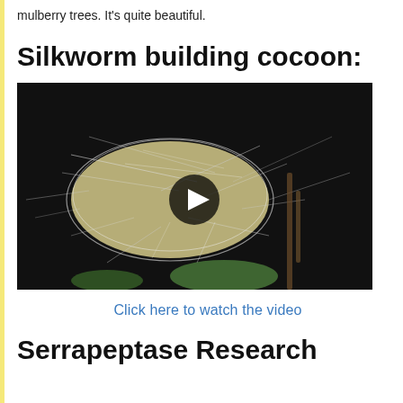mulberry trees. It's quite beautiful.
Silkworm building cocoon:
[Figure (screenshot): Close-up photo of a silkworm building a white silk cocoon against a dark background with leaves and twigs visible, showing a video player overlay with a play button in the center.]
Click here to watch the video
Serrapeptase Research